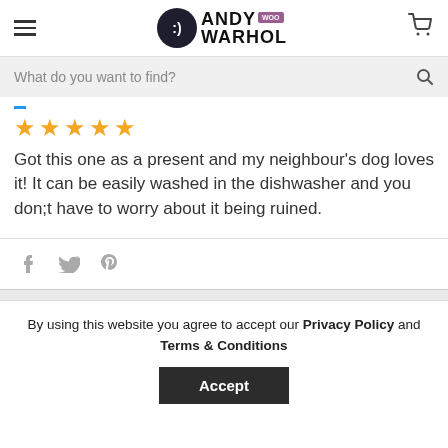[Figure (logo): Andy Warhol WooCommerce store logo with hamburger menu and cart icon in header]
What do you want to find?
[Figure (illustration): Blue underline accent mark]
[Figure (illustration): 5 gold/yellow star rating]
Got this one as a present and my neighbour's dog loves it! It can be easily washed in the dishwasher and you don;t have to worry about it being ruined.
[Figure (illustration): Social share icons: Facebook, Twitter, Pinterest]
By using this website you agree to accept our Privacy Policy and Terms & Conditions
Accept